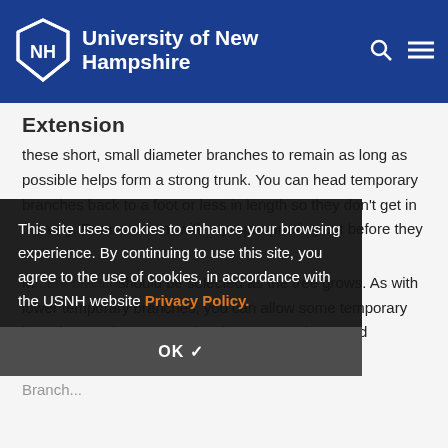University of New Hampshire
Extension
these short, small diameter branches to remain as long as possible helps form a strong trunk. You can head temporary branches back to a foot or less in length so they don't get in the way. Remove them with a proper pruning cut before they re...
M...ent branch should be selected as the tree grows. As with lower temporary branches, you can allow some temporary branches at closer sp...n they become too large and crowded.
This site uses cookies to enhance your browsing experience. By continuing to use this site, you agree to the use of cookies, in accordance with the USNH website Privacy Policy.
OK ✓
Branch...